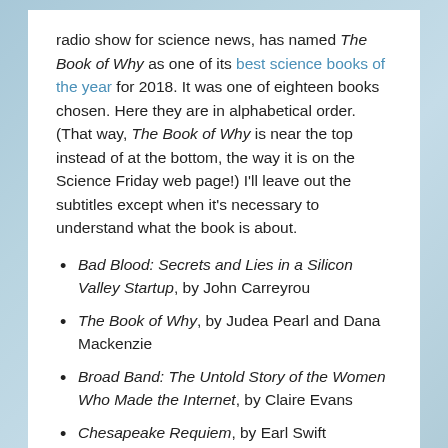radio show for science news, has named The Book of Why as one of its best science books of the year for 2018. It was one of eighteen books chosen. Here they are in alphabetical order. (That way, The Book of Why is near the top instead of at the bottom, the way it is on the Science Friday web page!) I'll leave out the subtitles except when it's necessary to understand what the book is about.
Bad Blood: Secrets and Lies in a Silicon Valley Startup, by John Carreyrou
The Book of Why, by Judea Pearl and Dana Mackenzie
Broad Band: The Untold Story of the Women Who Made the Internet, by Claire Evans
Chesapeake Requiem, by Earl Swift
The Dialogues: Conversations about the Nature of